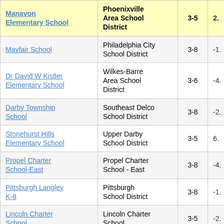| Manavon Elementary School | Phoenixville Area School District | 3-5 | 2. |
| --- | --- | --- | --- |
| Mayfair School | Philadelphia City School District | 3-8 | -1. |
| Dr David W Kistler Elementary School | Wilkes-Barre Area School District | 3-6 | -4. |
| Darby Township School | Southeast Delco School District | 3-8 | -2. |
| Stonehurst Hills Elementary School | Upper Darby School District | 3-5 | 6. |
| Propel Charter School-East | Propel Charter School - East | 3-8 | -4. |
| Pittsburgh Langley K-8 | Pittsburgh School District | 3-8 | -1. |
| Lincoln Charter School | Lincoln Charter School | 3-5 | -2. |